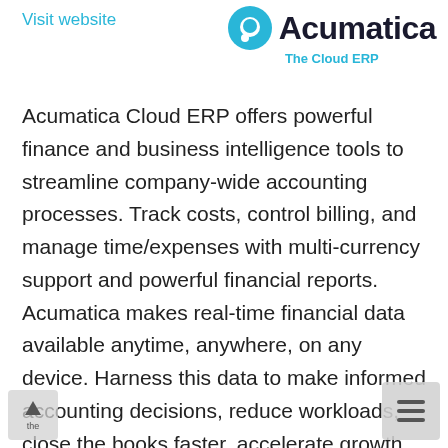Visit website
[Figure (logo): Acumatica logo with cyan circle icon and bold text 'Acumatica' and tagline 'The Cloud ERP']
Acumatica Cloud ERP offers powerful finance and business intelligence tools to streamline company-wide accounting processes. Track costs, control billing, and manage time/expenses with multi-currency support and powerful financial reports. Acumatica makes real-time financial data available anytime, anywhere, on any device. Harness this data to make informed accounting decisions, reduce workloads, close the books faster, accelerate growth, and transform how you do business the digital economy